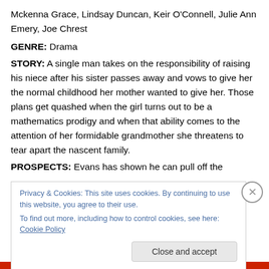Mckenna Grace, Lindsay Duncan, Keir O'Connell, Julie Ann Emery, Joe Chrest
GENRE: Drama
STORY: A single man takes on the responsibility of raising his niece after his sister passes away and vows to give her the normal childhood her mother wanted to give her. Those plans get quashed when the girl turns out to be a mathematics prodigy and when that ability comes to the attention of her formidable grandmother she threatens to tear apart the nascent family.
PROSPECTS: Evans has shown he can pull off the
Privacy & Cookies: This site uses cookies. By continuing to use this website, you agree to their use.
To find out more, including how to control cookies, see here: Cookie Policy
Close and accept